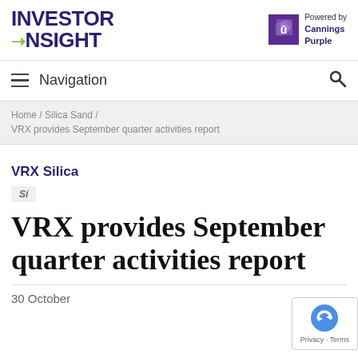INVESTOR INSIGHT | Powered by Cannings Purple
Navigation
Home / Silica Sand / VRX provides September quarter activities report
VRX Silica
Si
VRX provides September quarter activities report
30 October